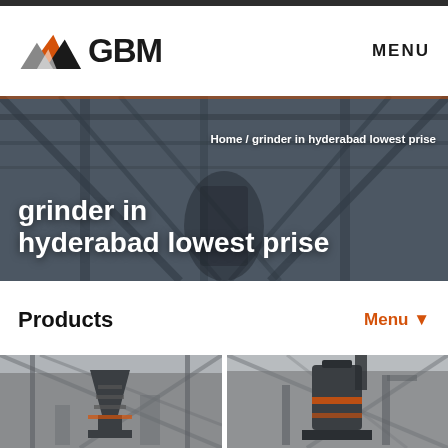[Figure (logo): GBM logo with mountain/triangle graphic in orange, grey, and black, with bold text GBM]
MENU
[Figure (photo): Hero banner photograph of industrial grinding/mining equipment in a large factory or warehouse, dark steel framework and equipment visible]
grinder in hyderabad lowest prise
Home / grinder in hyderabad lowest prise
Products
Menu ▼
[Figure (photo): Industrial cone crusher machine inside a large factory building with steel girder roof]
[Figure (photo): Industrial vertical grinding mill machinery inside a large factory building]